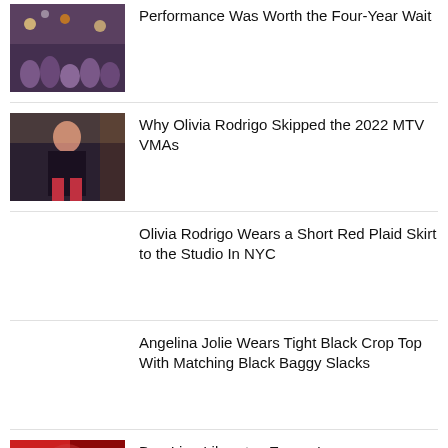[Figure (photo): Concert crowd photo thumbnail]
Performance Was Worth the Four-Year Wait
[Figure (photo): Olivia Rodrigo photo thumbnail]
Why Olivia Rodrigo Skipped the 2022 MTV VMAs
Olivia Rodrigo Wears a Short Red Plaid Skirt to the Studio In NYC
Angelina Jolie Wears Tight Black Crop Top With Matching Black Baggy Slacks
[Figure (photo): Dua Lipa photo thumbnail]
Dua Lipa Liberates Europe's